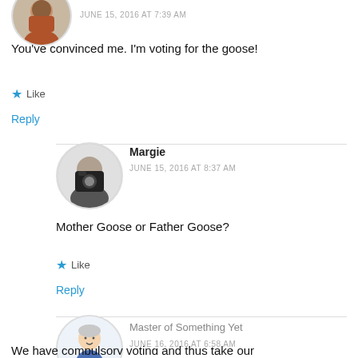[Figure (photo): Circular avatar of a person in a red outfit, top of image cut off]
JUNE 15, 2016 AT 7:39 AM
You’ve convinced me. I’m voting for the goose!
★ Like
Reply
[Figure (photo): Circular avatar of Margie holding a camera]
Margie
JUNE 15, 2016 AT 8:37 AM
Mother Goose or Father Goose?
★ Like
Reply
[Figure (illustration): Circular avatar of Master of Something Yet, illustrated cartoon character in blue]
Master of Something Yet
JUNE 16, 2016 AT 6:58 AM
We have compulsory voting and thus take our